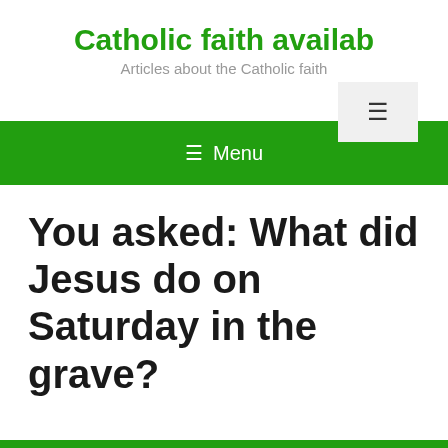Catholic faith availab
Articles about the Catholic faith
You asked: What did Jesus do on Saturday in the grave?